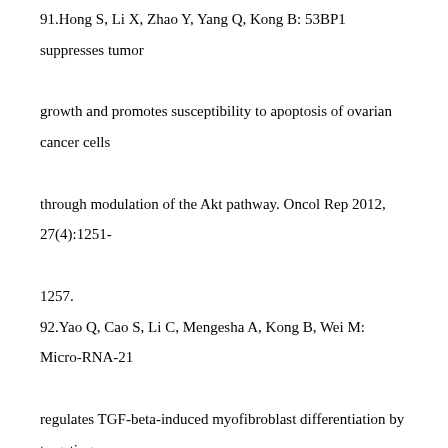91.Hong S, Li X, Zhao Y, Yang Q, Kong B: 53BP1 suppresses tumor growth and promotes susceptibility to apoptosis of ovarian cancer cells through modulation of the Akt pathway. Oncol Rep 2012, 27(4):1251-1257.
92.Yao Q, Cao S, Li C, Mengesha A, Kong B, Wei M: Micro-RNA-21 regulates TGF-beta-induced myofibroblast differentiation by targeting PDCD4 in tumor-stroma interaction. Int J Cancer 2011, 128(8):1783-1792.
93.Song K, Li J, Li L, Zhang P, Geng F, Dong R, Yang Q, Qu X, Kong B: Intracellular metabolism, subcellular localization and phototoxicity